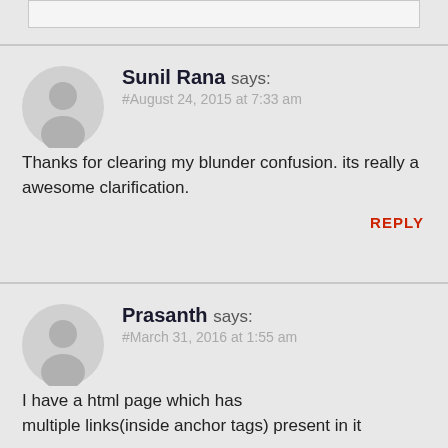[Figure (other): Top box/input area partially visible at top of page]
Sunil Rana says:
#August 24, 2015 at 7:33 am

Thanks for clearing my blunder confusion. its really a awesome clarification.

REPLY
Prasanth says:
#March 31, 2016 at 1:55 am

I have a html page which has multiple links(inside anchor tags) present in it